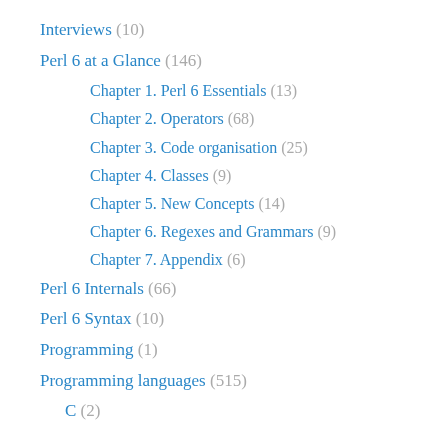Interviews (10)
Perl 6 at a Glance (146)
Chapter 1. Perl 6 Essentials (13)
Chapter 2. Operators (68)
Chapter 3. Code organisation (25)
Chapter 4. Classes (9)
Chapter 5. New Concepts (14)
Chapter 6. Regexes and Grammars (9)
Chapter 7. Appendix (6)
Perl 6 Internals (66)
Perl 6 Syntax (10)
Programming (1)
Programming languages (515)
C (2)